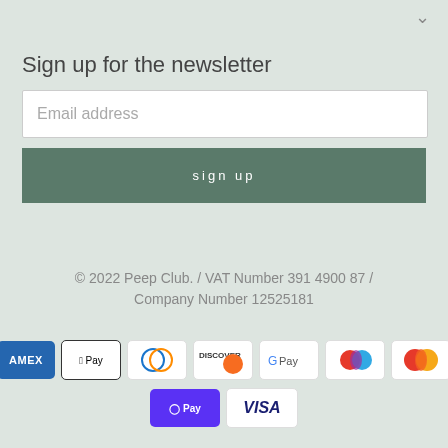Sign up for the newsletter
Email address
sign up
© 2022 Peep Club. / VAT Number 391 4900 87 / Company Number 12525181
[Figure (other): Payment method icons: American Express, Apple Pay, Diners Club, Discover, Google Pay, Shop Pay, Visa, and two others (multicolored circle icons)]